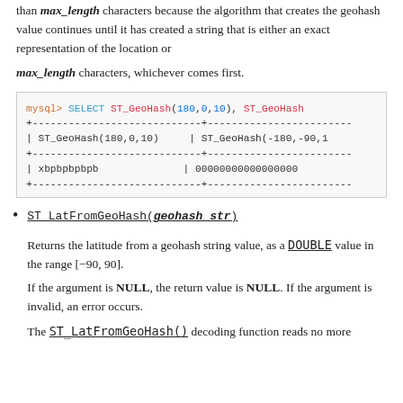than max_length characters because the algorithm that creates the geohash value continues until it has created a string that is either an exact representation of the location or max_length characters, whichever comes first.
[Figure (screenshot): MySQL code block showing: mysql> SELECT ST_GeoHash(180,0,10), ST_GeoHash table output with | ST_GeoHash(180,0,10) | ST_GeoHash(-180,-90,15 row headers and | xbpbpbpbpb | 00000000000000000 result row]
ST_LatFromGeoHash(geohash_str) - Returns the latitude from a geohash string value, as a DOUBLE value in the range [−90, 90]. If the argument is NULL, the return value is NULL. If the argument is invalid, an error occurs. The ST_LatFromGeoHash() decoding function reads no more